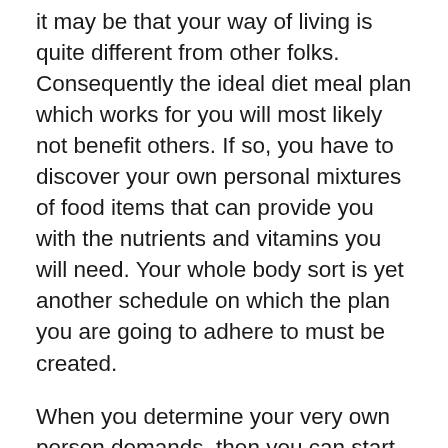it may be that your way of living is quite different from other folks. Consequently the ideal diet meal plan which works for you will most likely not benefit others. If so, you have to discover your own personal mixtures of food items that can provide you with the nutrients and vitamins you will need. Your whole body sort is yet another schedule on which the plan you are going to adhere to must be created.
When you determine your very own person demands, then you can start off searching for Printable Diet Plans which can help you accomplish your targets. You will certainly find many web sites that can present you with the most effective Diet Meal Plan. Also you can search for websites that will help you ready your dishes for your week. Some of them gives you